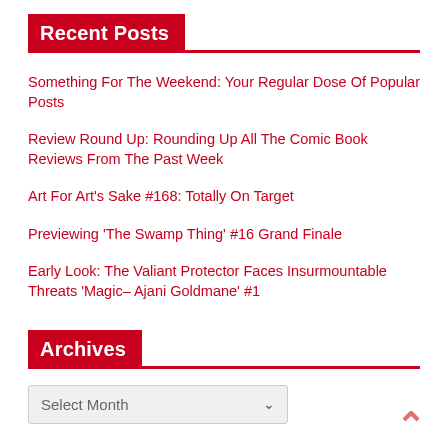Recent Posts
Something For The Weekend: Your Regular Dose Of Popular Posts
Review Round Up: Rounding Up All The Comic Book Reviews From The Past Week
Art For Art's Sake #168: Totally On Target
Previewing 'The Swamp Thing' #16 Grand Finale
Early Look: The Valiant Protector Faces Insurmountable Threats 'Magic– Ajani Goldmane' #1
Archives
Select Month